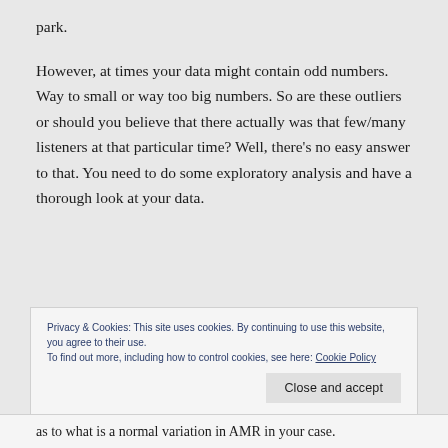park.

However, at times your data might contain odd numbers. Way to small or way too big numbers. So are these outliers or should you believe that there actually was that few/many listeners at that particular time? Well, there's no easy answer to that. You need to do some exploratory analysis and have a thorough look at your data.
Privacy & Cookies: This site uses cookies. By continuing to use this website, you agree to their use.
To find out more, including how to control cookies, see here: Cookie Policy
[Close and accept]
as to what is a normal variation in AMR in your case.